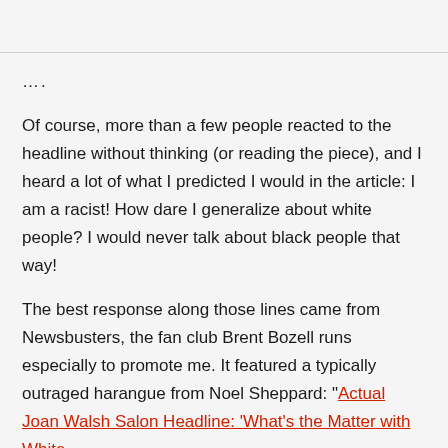....
Of course, more than a few people reacted to the headline without thinking (or reading the piece), and I heard a lot of what I predicted I would in the article: I am a racist! How dare I generalize about white people? I would never talk about black people that way!
The best response along those lines came from Newsbusters, the fan club Brent Bozell runs especially to promote me. It featured a typically outraged harangue from Noel Sheppard: "Actual Joan Walsh Salon Headline: 'What's the Matter with White